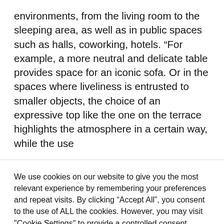environments, from the living room to the sleeping area, as well as in public spaces such as halls, coworking, hotels. “For example, a more neutral and delicate table provides space for an iconic sofa. Or in the spaces where liveliness is entrusted to smaller objects, the choice of an expressive top like the one on the terrace highlights the atmosphere in a certain way, while the use
We use cookies on our website to give you the most relevant experience by remembering your preferences and repeat visits. By clicking “Accept All”, you consent to the use of ALL the cookies. However, you may visit "Cookie Settings" to provide a controlled consent.